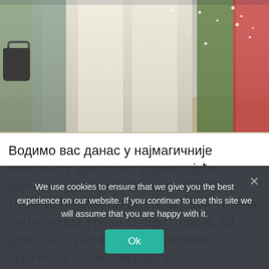[Figure (photo): Wedding photo showing two brides in white walking together surrounded by guests, with confetti in the air. Guests include people in green, dark, and red outfits. Someone on the left is carrying a dark handbag.]
Водимо вас данас у најмагичније венчање у џунгли на задивљујућа венчања две прелепе жене. АСОС трговац Сопхие се удала за своју љубав Кејти, купца Урбан Оутфиттерс-а, 10. јула 2021. у крајње шармантном окружењу Крамплберија у
We use cookies to ensure that we give you the best experience on our website. If you continue to use this site we will assume that you are happy with it.